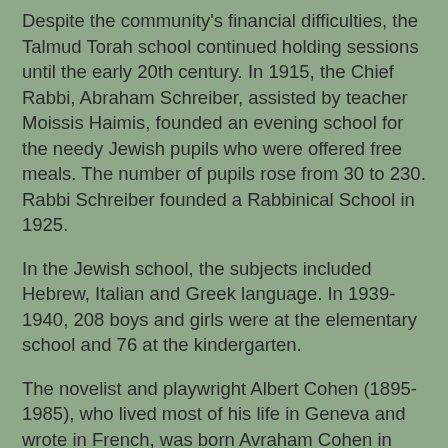Despite the community's financial difficulties, the Talmud Torah school continued holding sessions until the early 20th century. In 1915, the Chief Rabbi, Abraham Schreiber, assisted by teacher Moissis Haimis, founded an evening school for the needy Jewish pupils who were offered free meals. The number of pupils rose from 30 to 230. Rabbi Schreiber founded a Rabbinical School in 1925.
In the Jewish school, the subjects included Hebrew, Italian and Greek language. In 1939-1940, 208 boys and girls were at the elementary school and 76 at the kindergarten.
The novelist and playwright Albert Cohen (1895-1985), who lived most of his life in Geneva and wrote in French, was born Avraham Cohen in Corfu in 1895. The family left for France in 1900. A large plaque on the synagogue's outer wall bears the inscription: 'A child was born in this neighbourhood and here he took his first steps. That child was Albert Cohen.'
He is the author of a trilogy about the Jews of Kephalonia, but his masterpiece id Belle du Seigneur, set in Geneva in